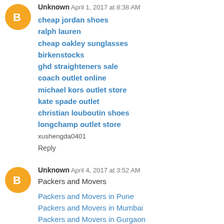[Figure (other): Blogger avatar icon - orange circle with white B letter]
Unknown April 1, 2017 at 8:38 AM
cheap jordan shoes
ralph lauren
cheap oakley sunglasses
birkenstocks
ghd straighteners sale
coach outlet online
michael kors outlet store
kate spade outlet
christian louboutin shoes
longchamp outlet store
xushengda0401
Reply
[Figure (other): Blogger avatar icon - orange circle with white B letter]
Unknown April 4, 2017 at 3:52 AM
Packers and Movers
Packers and Movers in Pune
Packers and Movers in Mumbai
Packers and Movers in Gurgaon
Packers and Movers in Noida